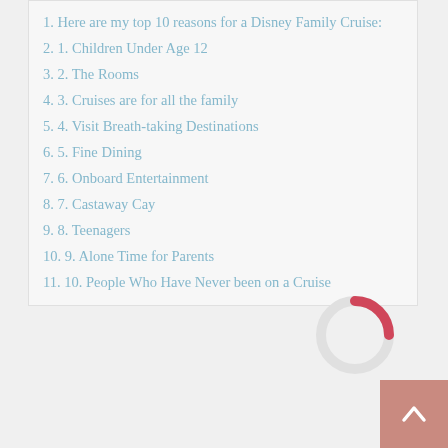1. Here are my top 10 reasons for a Disney Family Cruise:
2. 1. Children Under Age 12
3. 2. The Rooms
4. 3. Cruises are for all the family
5. 4. Visit Breath-taking Destinations
6. 5. Fine Dining
7. 6. Onboard Entertainment
8. 7. Castaway Cay
9. 8. Teenagers
10. 9. Alone Time for Parents
11. 10. People Who Have Never been on a Cruise
Here are my top 10 reasons for a Disney Family Cruise:
1. Children Under Age 12